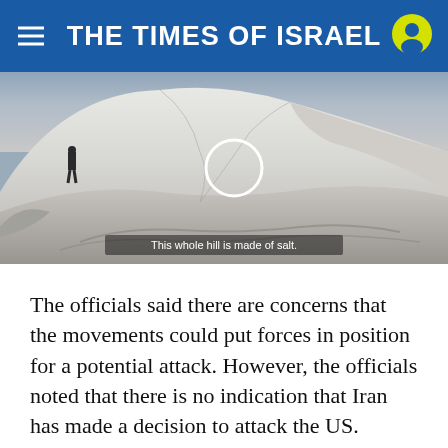THE TIMES OF ISRAEL
[Figure (photo): Grayscale photo of a large salt hill/mountain with a person standing on the left side. A white circle overlay is in the center (video play indicator). Subtitle reads: 'This whole hill is made of salt.']
The officials said there are concerns that the movements could put forces in position for a potential attack. However, the officials noted that there is no indication that Iran has made a decision to attack the US.